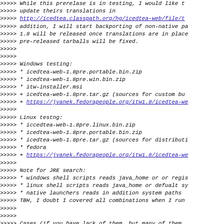>>>>> While this prerelase is in testing, I would like to
>>>>> update theirs translations in
>>>>> http://icedtea.classpath.org/hg/icedtea-web/file/t...
>>>>> addition, I will start backporting of non-native pa
>>>>> 1.8 will be released once translations are in place
>>>>> pre-released tarballs will be fixed.
>>>>>
>>>>>
>>>>> Windows testing:
>>>>> * icedtea-web-1.8pre.portable.bin.zip
>>>>> * icedtea-web-1.8pre.win.bin.zip
>>>>> * itw-installer.msi
>>>>> + icedtea-web-1.8pre.tar.gz (sources for custom bu...
>>>>> + https://jvanek.fedorapeople.org/itw1.8/icedtea-we...
>>>>>
>>>>> Linux testng:
>>>>> * iccedtea-web-1.8pre.linux.bin.zip
>>>>> * icedtea-web-1.8pre.portable.bin.zip
>>>>> * icedtea-web-1.8pre.tar.gz (sources for distributi...
>>>>> * fedora
>>>>> + https://jvanek.fedorapeople.org/itw1.8/icedtea-we...
>>>>>
>>>>> Note for JRE search:
>>>>> * windows shell scripts reads java_home or or regis...
>>>>> * linux shell scripts reads java_home or defualt sy...
>>>>> * native launchers reads in addition system paths
>>>>> TBH, I doubt I covered all combinations when I run
>>>>>
>>>>>
>>>>> Cases (if you have lack of them, but many of them ...